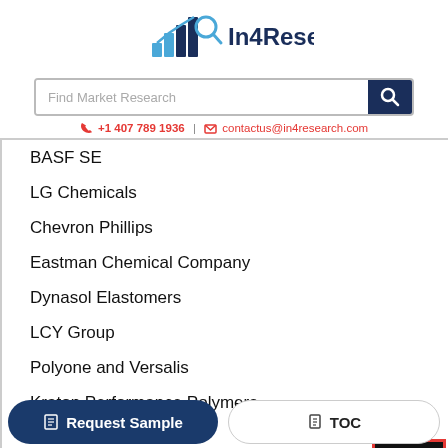[Figure (logo): In4Research logo with bar chart and magnifying glass icon, company name In4Research in dark blue]
[Figure (screenshot): Search bar with placeholder text 'Find Market Research' and dark blue search button with magnifying glass icon]
+1 407 789 1936 | contactus@in4research.com
BASF SE
LG Chemicals
Chevron Phillips
Eastman Chemical Company
Dynasol Elastomers
LCY Group
Polyone and Versalis
Kraton Performance Polymers
Kumho Petrochemicals
JSR Corp
Momentive Specialty Chemicals
Request Sample
TOC